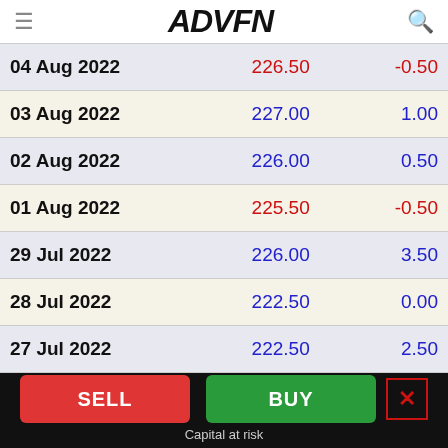ADVFN
| Date | Price | Change |
| --- | --- | --- |
| 04 Aug 2022 | 226.50 | -0.50 |
| 03 Aug 2022 | 227.00 | 1.00 |
| 02 Aug 2022 | 226.00 | 0.50 |
| 01 Aug 2022 | 225.50 | -0.50 |
| 29 Jul 2022 | 226.00 | 3.50 |
| 28 Jul 2022 | 222.50 | 0.00 |
| 27 Jul 2022 | 222.50 | 2.50 |
SELL | BUY | Capital at risk